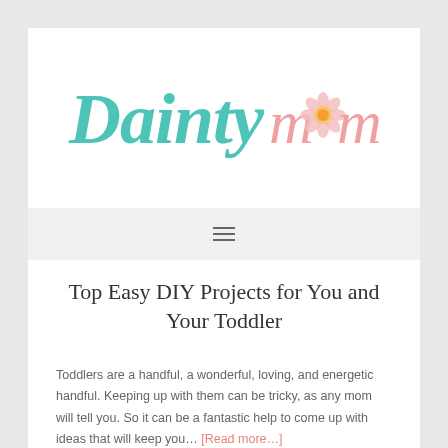[Figure (logo): Dainty Mom blog logo — 'Dainty' in teal cursive script and 'mom' in pink cursive with a small pink flower illustration in the center]
[Figure (other): Navigation bar with hamburger menu icon (three horizontal lines)]
Top Easy DIY Projects for You and Your Toddler
Toddlers are a handful, a wonderful, loving, and energetic handful. Keeping up with them can be tricky, as any mom will tell you. So it can be a fantastic help to come up with ideas that will keep you… [Read more…]